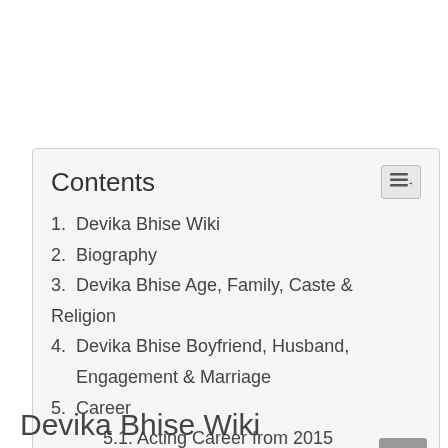Contents
1. Devika Bhise Wiki
2. Biography
3. Devika Bhise Age, Family, Caste & Religion
4. Devika Bhise Boyfriend, Husband, Engagement & Marriage
5. Career
5.1. Acting Career from 2015
6. Facts of Devika
Devika Bhise Wiki